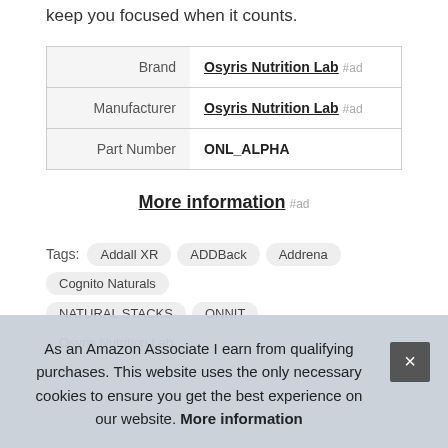keep you focused when it counts.
|  |  |
| --- | --- |
| Brand | Osyris Nutrition Lab #ad |
| Manufacturer | Osyris Nutrition Lab #ad |
| Part Number | ONL_ALPHA |
More information #ad
Tags: Addall XR  ADDBack  Addrena  Cognito Naturals
NATURAL STACKS  ONNIT  Osyris Nutrition Lab
Sm...
As an Amazon Associate I earn from qualifying purchases. This website uses the only necessary cookies to ensure you get the best experience on our website. More information